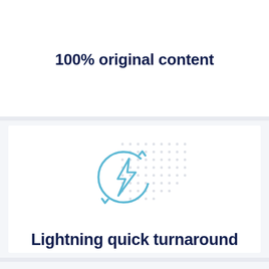100% original content
[Figure (illustration): A circular arrows icon with a lightning bolt in the center, drawn in light blue, with a dotted grid pattern in the background (light gray dots).]
Lightning quick turnaround